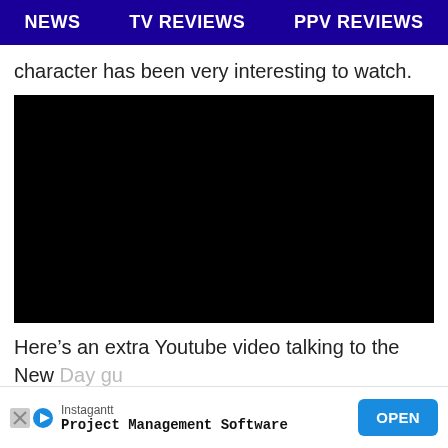NEWS   TV REVIEWS   PPV REVIEWS
character has been very interesting to watch.
[Figure (other): Black video player embed (no content visible)]
Here’s an extra Youtube video talking to the New Day gu
Instagantt  Project Management Software  OPEN